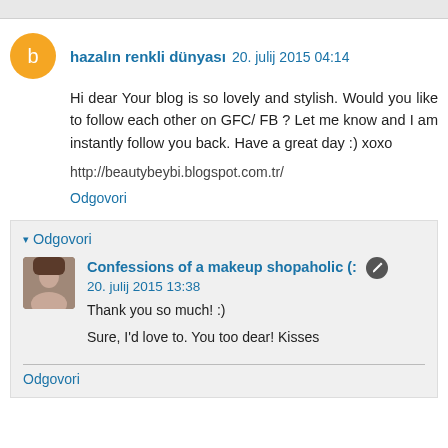hazalın renkli dünyası 20. julij 2015 04:14
Hi dear Your blog is so lovely and stylish. Would you like to follow each other on GFC/ FB ? Let me know and I am instantly follow you back. Have a great day :) xoxo
http://beautybeybi.blogspot.com.tr/
Odgovori
▾ Odgovori
Confessions of a makeup shopaholic (: 20. julij 2015 13:38
Thank you so much! :)
Sure, I'd love to. You too dear! Kisses
Odgovori